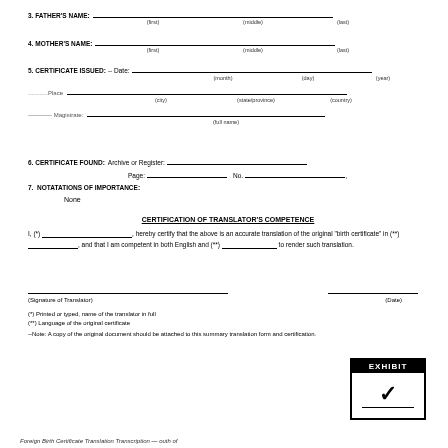3. FATHER'S NAME: ___ (first) ___ (middle) ___ (last)
4. MOTHER'S NAME: ___ (first) ___ (middle) ___ (last)
5. CERTIFICATE ISSUED: -- Date: ___ (month) ___ (day) ___ (year)
............Place ___ (city) ___ (state/province) ___ (country)
------------ Magistrate: ___ (full name)
6. CERTIFICATE FOUND: Archive or Register: ___ Page: ___ No.: ___
7. NOTATATIONS OF IMPORTANCE: None
CERTIFICATION OF TRANSLATOR'S COMPETENCE
I, (*) ___________________, hereby certify that the above is an accurate translation of the original "birth certificate" in (**) ___________, and that I am competent in both English and (**) ____________ to render such translation.
(Signature of Translator)                                       (Date)
(*) Printed or typed, name of the translator in full
(**) Language of the original certificate
--Note: A copy of the original document should be attached to this summary translation form and certification.
[Figure (other): Exhibit stamp box labeled EXHIBIT with checkmark V]